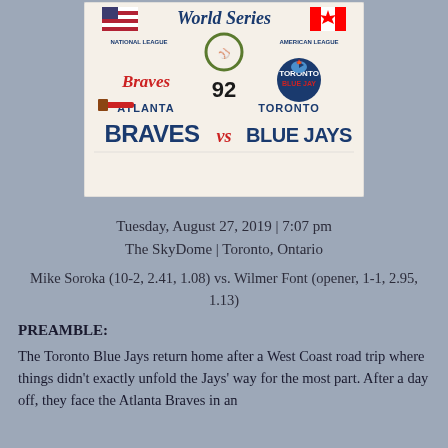[Figure (photo): 1992 World Series t-shirt graphic showing Atlanta Braves vs Toronto Blue Jays. Features American and Canadian flags, team logos, laurel wreath, and text 'World Series', 'National League', 'American League', 'Atlanta Braves vs Blue Jays', '92'.]
Tuesday, August 27, 2019 | 7:07 pm
The SkyDome | Toronto, Ontario
Mike Soroka (10-2, 2.41, 1.08) vs. Wilmer Font (opener, 1-1, 2.95, 1.13)
PREAMBLE:
The Toronto Blue Jays return home after a West Coast road trip where things didn't exactly unfold the Jays' way for the most part. After a day off, they face the Atlanta Braves in an